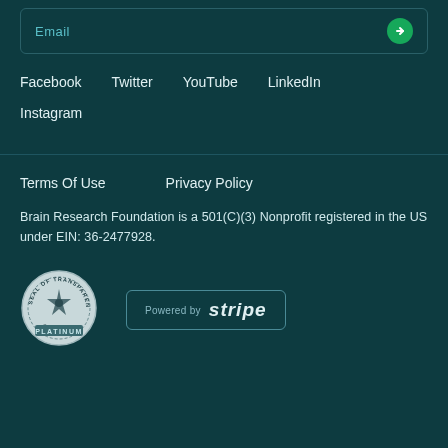Email
Facebook
Twitter
YouTube
LinkedIn
Instagram
Terms Of Use
Privacy Policy
Brain Research Foundation is a 501(C)(3) Nonprofit registered in the US under EIN: 36-2477928.
[Figure (logo): Seal of Transparency Platinum Candid badge]
[Figure (logo): Powered by Stripe badge]